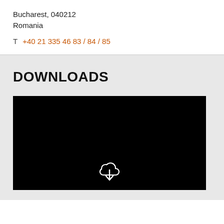Bucharest, 040212
Romania
T  +40 21 335 46 83 / 84 / 85
DOWNLOADS
[Figure (illustration): Black rectangle with a white cloud download icon (cloud shape with downward arrow) centered near the bottom]